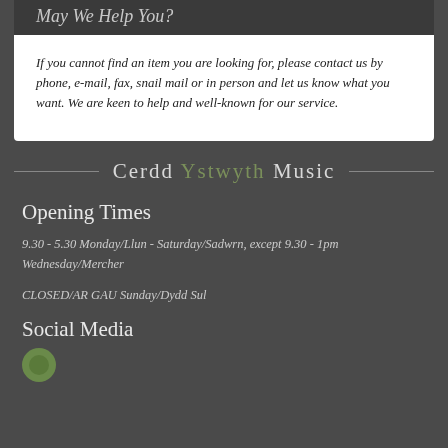May We Help You?
If you cannot find an item you are looking for, please contact us by phone, e-mail, fax, snail mail or in person and let us know what you want. We are keen to help and well-known for our service.
Cerdd Ystwyth Music
Opening Times
9.30 - 5.30 Monday/Llun - Saturday/Sadwrn, except 9.30 - 1pm Wednesday/Mercher
CLOSED/AR GAU Sunday/Dydd Sul
Social Media